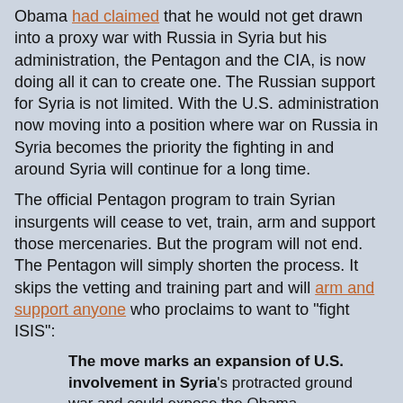Obama had claimed that he would not get drawn into a proxy war with Russia in Syria but his administration, the Pentagon and the CIA, is now doing all it can to create one. The Russian support for Syria is not limited. With the U.S. administration now moving into a position where war on Russia in Syria becomes the priority the fighting in and around Syria will continue for a long time.
The official Pentagon program to train Syrian insurgents will cease to vet, train, arm and support those mercenaries. But the program will not end. The Pentagon will simply shorten the process. It skips the vetting and training part and will arm and support anyone who proclaims to want to "fight ISIS":
The move marks an expansion of U.S. involvement in Syria's protracted ground war and could expose the Obama administration to greater risks if weapons provided to a wider array of rebel units go astray, or if U.S.-backed fighters come under attack from forces loyal to Assad and his allies.
...
Under the new plan, leaders of groups already battling the Islamic State undergo vetting and